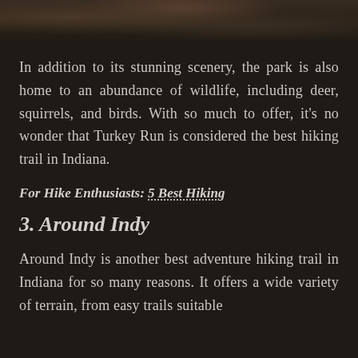[Figure (photo): Partial view of a nature/forest photograph showing dark terrain, likely a hiking trail area]
In addition to its stunning scenery, the park is also home to an abundance of wildlife, including deer, squirrels, and birds. With so much to offer, it’s no wonder that Turkey Run is considered the best hiking trail in Indiana.
For Hike Enthusiasts: 5 Best Hiking
3. Around Indy
Around Indy is another best adventure hiking trail in Indiana for so many reasons. It offers a wide variety of terrain, from easy trails suitable